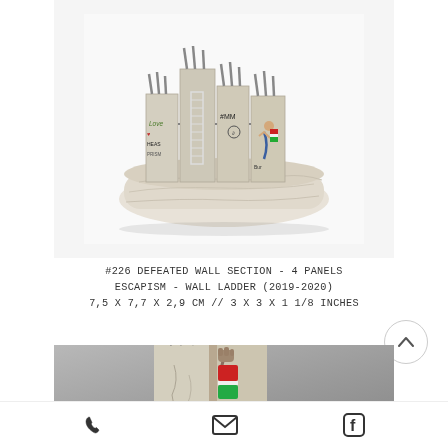[Figure (photo): Banksy sculpture: Defeated Wall Section - 4 panels showing graffiti wall segments on a stone base, with ladder and figures depicted in miniature detail]
#226 DEFEATED WALL SECTION - 4 PANELS
ESCAPISM - WALL LADDER (2019-2020)
7,5 X 7,7 X 2,9 CM // 3 X 3 X 1 1/8 INCHES
[Figure (photo): Close-up detail of the Banksy wall sculpture showing a figure with raised fist and red/green colored element against grey background]
Phone | Email | Facebook